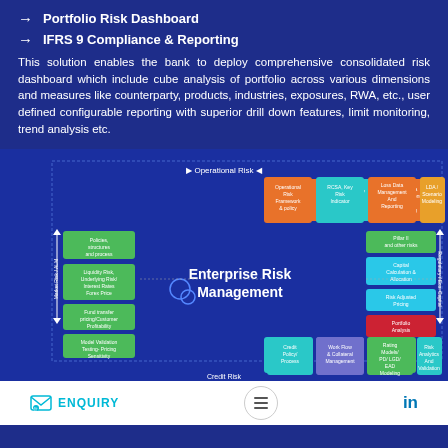→ Portfolio Risk Dashboard
→ IFRS 9 Compliance & Reporting
This solution enables the bank to deploy comprehensive consolidated risk dashboard which include cube analysis of portfolio across various dimensions and measures like counterparty, products, industries, exposures, RWA, etc., user defined configurable reporting with superior drill down features, limit monitoring, trend analysis etc.
[Figure (infographic): Enterprise Risk Management diagram showing operational risk modules at top (Operational Risk Framework & policy, RCSA Key Risk Indicator, Loss Data Management And Reporting, LDA/Scenario Modeling), credit risk modules at bottom (Credit Policy/Process, Work Flow & Collateral Management, Rating Models/PD/LGD/EAD Modeling, Risk Analytics And Validation), market risk modules on left (Policies structures and process, Liquidity Risk/Underlying Risk/Interest Rates/Forex Price, Fund transfer pricing/Customer Profitability, Model Validation Testing-Pricing Sensitivity), and regulatory capital modules on right (Pillar II and other risks, Capital Calculation & Allocation, Risk Adjusted Pricing, Portfolio Analysis). Center label: Enterprise Risk Management.]
ENQUIRY  [menu icon]  in